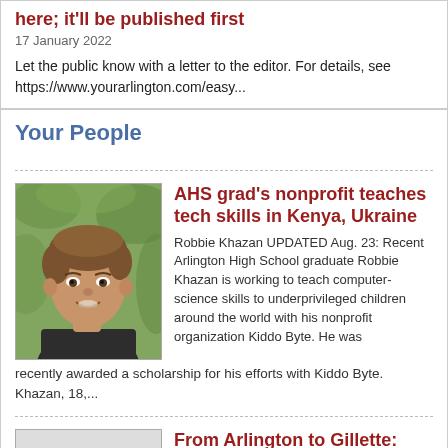here; it'll be published first
17 January 2022
Let the public know with a letter to the editor. For details, see https://www.yourarlington.com/easy...
Your People
AHS grad's nonprofit teaches tech skills in Kenya, Ukraine
[Figure (photo): Headshot of a young male teenager smiling, wearing a dark shirt, with a blurred green outdoor background]
Robbie Khazan UPDATED Aug. 23: Recent Arlington High School graduate Robbie Khazan is working to teach computer-science skills to underprivileged children around the world with his nonprofit organization Kiddo Byte. He was recently awarded a scholarship for his efforts with Kiddo Byte. Khazan, 18,...
From Arlington to Gillette: AHS senior debuts with